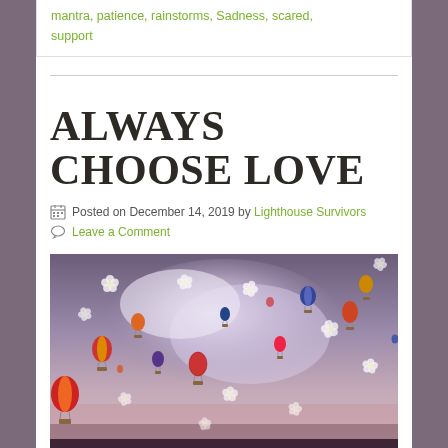mantra, patience, rainstorms, Sadness, scared, support
ALWAYS CHOOSE LOVE
Posted on December 14, 2019 by Lighthouse Survivors
Leave a Comment
[Figure (photo): Hot air balloons and white flower petals floating in a purple-pink sky with dramatic clouds]